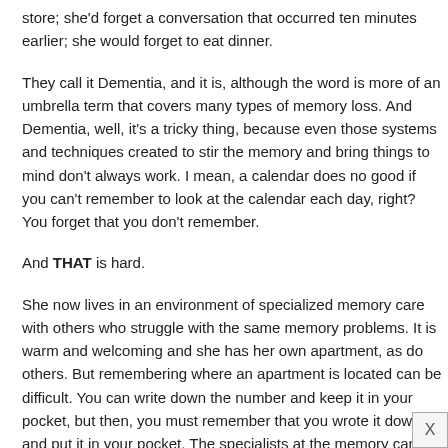store; she'd forget a conversation that occurred ten minutes earlier; she would forget to eat dinner.
They call it Dementia, and it is, although the word is more of an umbrella term that covers many types of memory loss. And Dementia, well, it's a tricky thing, because even those systems and techniques created to stir the memory and bring things to mind don't always work. I mean, a calendar does no good if you can't remember to look at the calendar each day, right? You forget that you don't remember.
And THAT is hard.
She now lives in an environment of specialized memory care with others who struggle with the same memory problems. It is warm and welcoming and she has her own apartment, as do others. But remembering where an apartment is located can be difficult. You can write down the number and keep it in your pocket, but then, you must remember that you wrote it down and put it in your pocket. The specialists at the memory care apartments know this; they know the struggles and how difficult in can be when you can't trust your